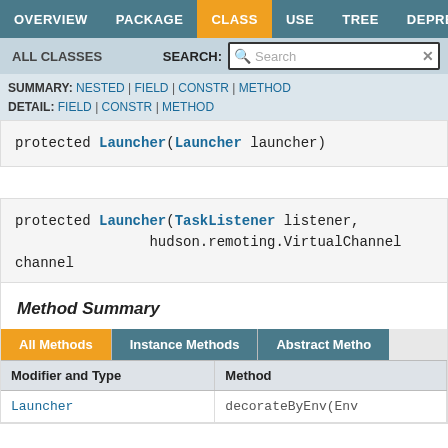OVERVIEW  PACKAGE  CLASS  USE  TREE  DEPRECATED
ALL CLASSES   SEARCH:
SUMMARY: NESTED | FIELD | CONSTR | METHOD
DETAIL: FIELD | CONSTR | METHOD
protected Launcher(Launcher launcher)
protected Launcher(TaskListener listener,
                hudson.remoting.VirtualChannel channel
Method Summary
| Modifier and Type | Method |
| --- | --- |
| Launcher | decorateByEnv(Env |